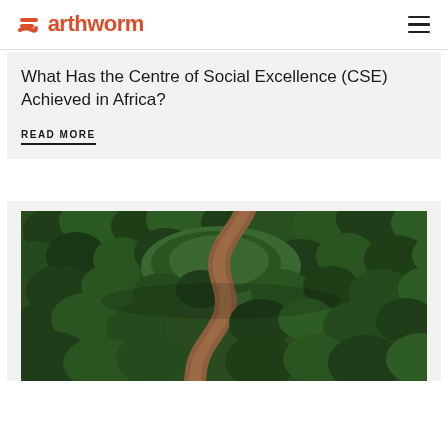Earthworm
What Has the Centre of Social Excellence (CSE) Achieved in Africa?
READ MORE
[Figure (photo): Aerial drone photograph of a winding dirt road cutting through dense tropical palm oil plantation forest canopy, viewed from above.]